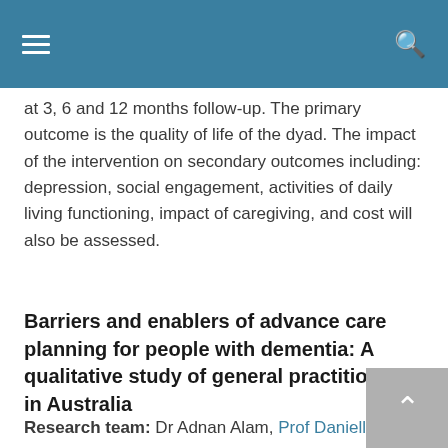[navigation bar with hamburger menu and search icon]
at 3, 6 and 12 months follow-up. The primary outcome is the quality of life of the dyad. The impact of the intervention on secondary outcomes including: depression, social engagement, activities of daily living functioning, impact of caregiving, and cost will also be assessed.
Barriers and enablers of advance care planning for people with dementia: A qualitative study of general practitioners in Australia
Research team: Dr Adnan Alam, Prof Danielle